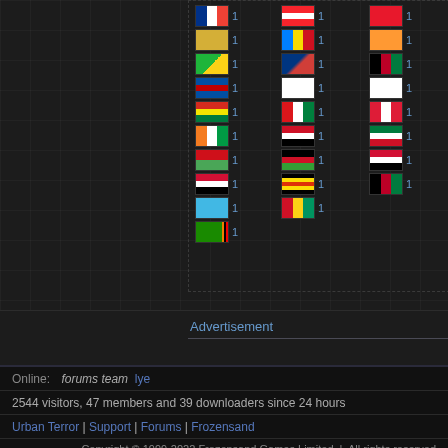[Figure (infographic): Grid of country flags with count of 1 each, arranged in three columns on a dark background with dotted border]
Advertisement
Online: forums team lye
2544 visitors, 47 members and 39 downloaders since 24 hours
Urban Terror | Support | Forums | Frozensand
Copyright © 1999-2022 Frozensand Games Limited | All rights reserved
Frozensand Games is a Limited company regis